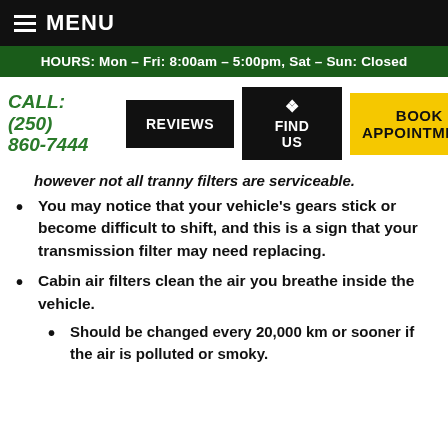MENU
HOURS: Mon – Fri: 8:00am – 5:00pm, Sat – Sun: Closed
CALL: (250) 860-7444
REVIEWS
FIND US
BOOK APPOINTMENT
however not all tranny filters are serviceable.
You may notice that your vehicle's gears stick or become difficult to shift, and this is a sign that your transmission filter may need replacing.
Cabin air filters clean the air you breathe inside the vehicle.
Should be changed every 20,000 km or sooner if the air is polluted or smoky.